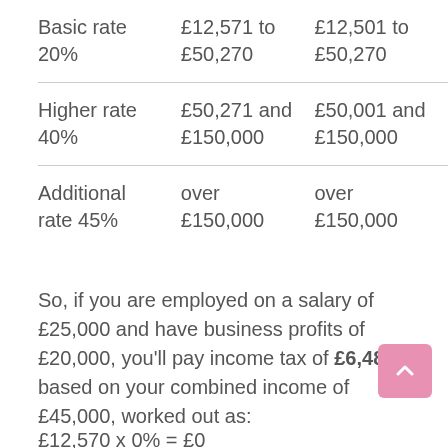| Rate | 2022/23 | 2021/22 |
| --- | --- | --- |
| Basic rate 20% | £12,571 to £50,270 | £12,501 to £50,270 |
| Higher rate 40% | £50,271 and £150,000 | £50,001 and £150,000 |
| Additional rate 45% | over £150,000 | over £150,000 |
So, if you are employed on a salary of £25,000 and have business profits of £20,000, you'll pay income tax of £6,486 based on your combined income of £45,000, worked out as: